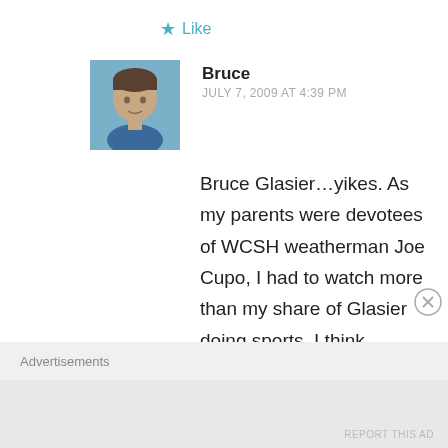Like
Bruce
JULY 7, 2009 AT 4:39 PM
Bruce Glasier…yikes. As my parents were devotees of WCSH weatherman Joe Cupo, I had to watch more than my share of Glasier doing sports. I think WSCH was one of the few news programs that put the sports before the weather, so if I did have control of
Advertisements